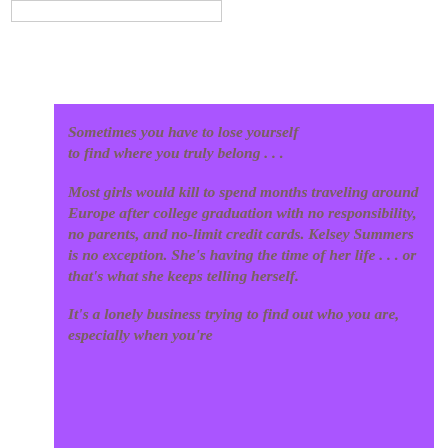[Figure (other): Small white rectangle outline at top left of page]
Sometimes you have to lose yourself to find where you truly belong . . .
Most girls would kill to spend months traveling around Europe after college graduation with no responsibility, no parents, and no-limit credit cards. Kelsey Summers is no exception. She's having the time of her life . . . or that's what she keeps telling herself.
It's a lonely business trying to find out who you are, especially when you're